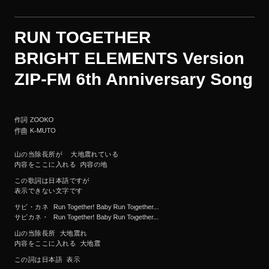RUN TOGETHER BRIGHT ELEMENTS Version ZIP-FM 6th Anniversary Song
作詞 ZOOKO
作曲 K-MUTO
lyrics line 1 (Japanese)
lyrics line 2 (Japanese)
lyrics line 3 (Japanese)
lyrics line 4 (Japanese)
Japanese  Run Together! Baby Run Together...
Japanese  Run Together! Baby Run Together...
lyrics line 7 (Japanese)
lyrics line 8 (Japanese)
lyrics line 9 (Japanese)